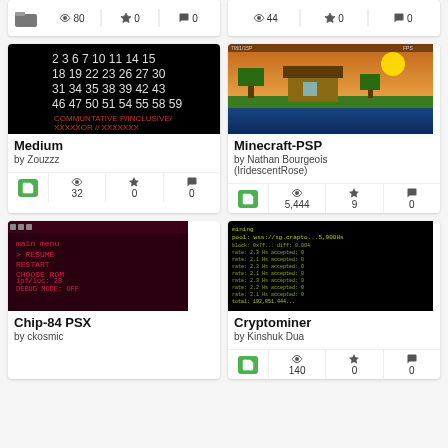[Figure (screenshot): Top partial card left - folder icon with stats: 80 views, 0 stars, 0 comments]
[Figure (screenshot): Top partial card right - stats: 44 views, 0 stars, 0 comments]
[Figure (screenshot): Medium project - black background with numbers, by Zouzzz, 32 views, 0 stars, 0 comments]
[Figure (screenshot): Minecraft-PSP project - Minecraft house screenshot, by Nathan Bourgeois (IridescentRose), 5444 views, 9 stars, 0 comments]
[Figure (screenshot): Chip-84 PSX project - dark red terminal, by ckosmic]
[Figure (screenshot): Cryptominer project - black terminal with green text, by Kinshuk Dua, 140 views, 0 stars, 0 comments]